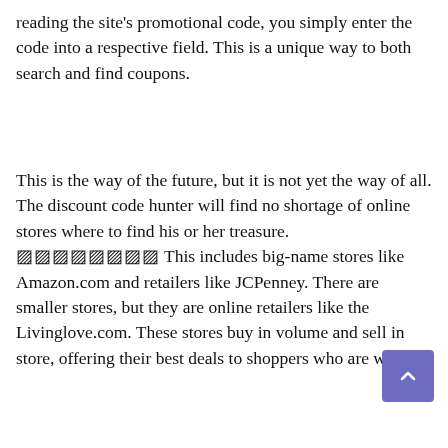reading the site's promotional code, you simply enter the code into a respective field. This is a unique way to both search and find coupons.
This is the way of the future, but it is not yet the way of all. The discount code hunter will find no shortage of online stores where to find his or her treasure. [REDACTED] This includes big-name stores like Amazon.com and retailers like JCPenney. There are smaller stores, but they are online retailers like the Livinglove.com. These stores buy in volume and sell in store, offering their best deals to shoppers who are willing